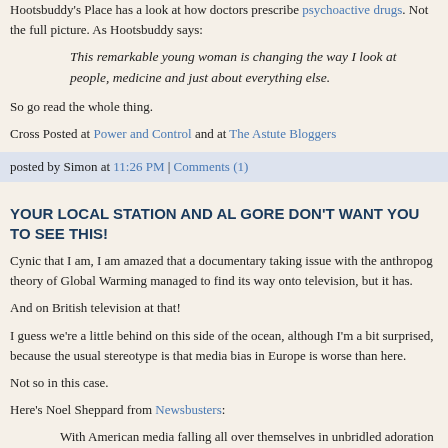Hootsbuddy's Place has a look at how doctors prescribe psychoactive drugs. Not the full picture. As Hootsbuddy says:
This remarkable young woman is changing the way I look at people, medicine and just about everything else.
So go read the whole thing.
Cross Posted at Power and Control and at The Astute Bloggers
posted by Simon at 11:26 PM | Comments (1)
YOUR LOCAL STATION AND AL GORE DON'T WANT YOU TO SEE THIS!
Cynic that I am, I am amazed that a documentary taking issue with the anthropog theory of Global Warming managed to find its way onto television, but it has.
And on British television at that!
I guess we're a little behind on this side of the ocean, although I'm a bit surprised, because the usual stereotype is that media bias in Europe is worse than here.
Not so in this case.
Here's Noel Sheppard from Newsbusters:
With American media falling all over themselves in unbridled adoration for soon-to-be-Dr. Al Gore while they generate totally unwarranted hysteria over climate change, it seems impossible to imagine a televised documentary debunking the junk science surrounding this issue.